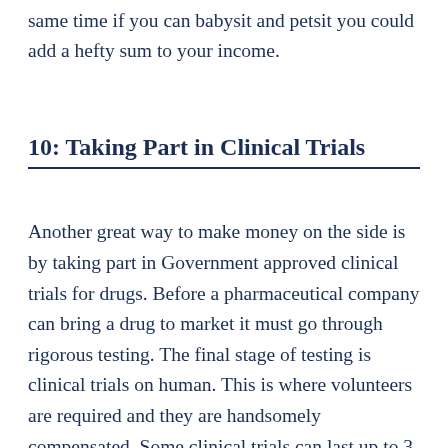same time if you can babysit and petsit you could add a hefty sum to your income.
10: Taking Part in Clinical Trials
Another great way to make money on the side is by taking part in Government approved clinical trials for drugs. Before a pharmaceutical company can bring a drug to market it must go through rigorous testing. The final stage of testing is clinical trials on human. This is where volunteers are required and they are handsomely compensated. Some clinical trials can last up to 3 months but pay anything between $10K and $20K depending on how healthy or ill you are. If